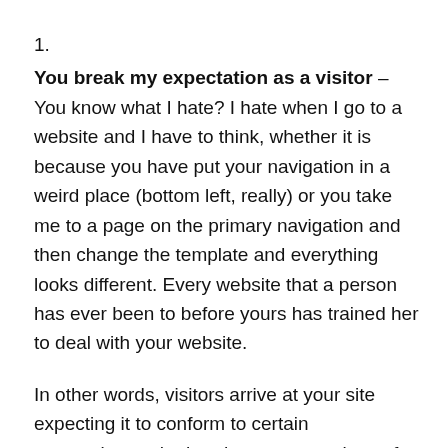1.
You break my expectation as a visitor – You know what I hate? I hate when I go to a website and I have to think, whether it is because you have put your navigation in a weird place (bottom left, really) or you take me to a page on the primary navigation and then change the template and everything looks different. Every website that a person has ever been to before yours has trained her to deal with your website.
In other words, visitors arrive at your site expecting it to conform to certain conventions, whether they are conscious of this or not. It is ok to be creative but, simply put, there are some “rules of the road.”